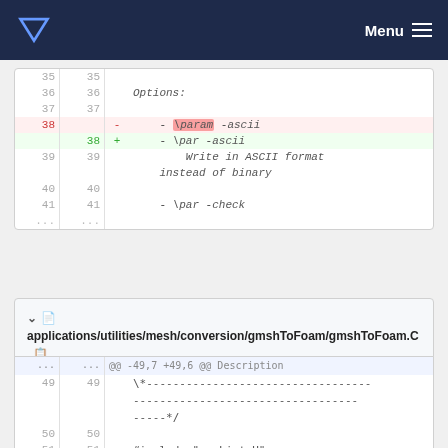Menu
[Figure (screenshot): Code diff view showing line numbers 35-41 with deleted line 38 containing '\param -ascii' (highlighted) and added line 38 containing '\par -ascii', lines 39 showing 'Write in ASCII format instead of binary', line 41 showing '- \par -check']
applications/utilities/mesh/conversion/gmshToFoam/gmshToFoam.C
[Figure (screenshot): Code diff view showing hunk header '@@ -49,7 +49,6 @@ Description', line 49 with '\*---...---*/', line 50 empty, line 51 with '#include "argList.H"']